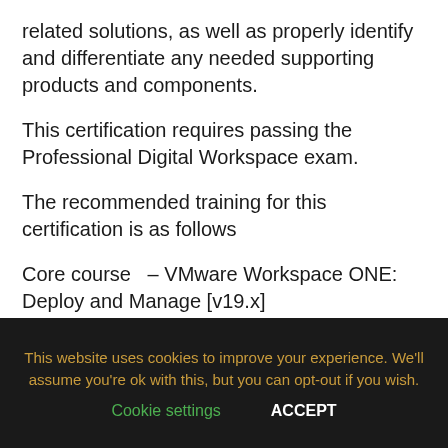related solutions, as well as properly identify and differentiate any needed supporting products and components.
This certification requires passing the Professional Digital Workspace exam.
The recommended training for this certification is as follows
Core course  – VMware Workspace ONE: Deploy and Manage [v19.x]
Where Next
Once the VCP tracks have been covered, progression moves
This website uses cookies to improve your experience. We'll assume you're ok with this, but you can opt-out if you wish.
Cookie settings    ACCEPT